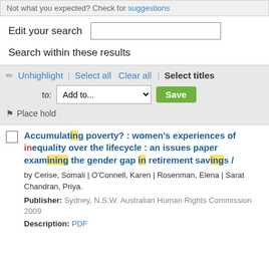Not what you expected? Check for suggestions
Edit your search
Search within these results
✏ Unhighlight | Select all   Clear all | Select titles to: Add to... Save ⚑ Place hold
Accumulating poverty? : women's experiences of inequality over the lifecycle : an issues paper examining the gender gap in retirement savings /
by Cerise, Somali | O'Connell, Karen | Rosenman, Elena | Sarat Chandran, Priya.
Publisher: Sydney, N.S.W. Australian Human Rights Commission 2009
Description: PDF